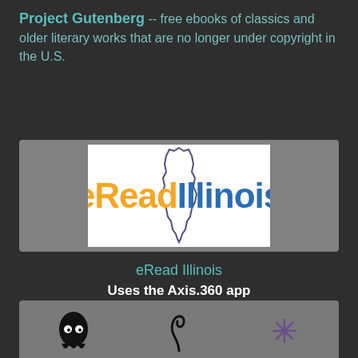Project Gutenberg -- free ebooks of classics and older literary works that are no longer under copyright in the U.S.
[Figure (logo): eReadIllinois logo: orange 'eRead' and blue 'Illinois' text with Illinois state outline on white background, gray bars on sides]
eRead Illinois
Uses the Axis.360 app
http://carthage.axis360.baker-taylor.com.
[Figure (illustration): Partial view of illustrated characters at bottom of page on gray background]